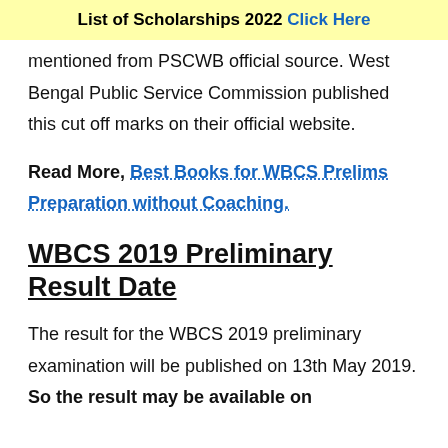List of Scholarships 2022 Click Here
mentioned from PSCWB official source. West Bengal Public Service Commission published this cut off marks on their official website.
Read More, Best Books for WBCS Prelims Preparation without Coaching.
WBCS 2019 Preliminary Result Date
The result for the WBCS 2019 preliminary examination will be published on 13th May 2019. So the result may be available on